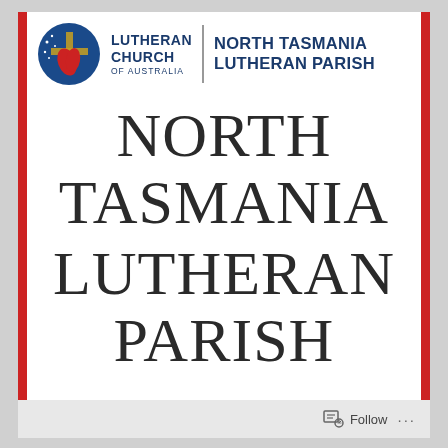[Figure (logo): Lutheran Church of Australia circular logo with cross and flame symbol, blue and gold colors, alongside 'LUTHERAN CHURCH OF AUSTRALIA' text and 'NORTH TASMANIA LUTHERAN PARISH' in bold blue]
NORTH TASMANIA LUTHERAN PARISH
Follow ...